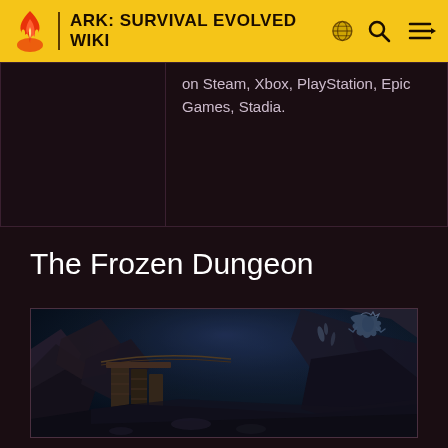ARK: SURVIVAL EVOLVED WIKI
on Steam, Xbox, PlayStation, Epic Games, Stadia.
The Frozen Dungeon
[Figure (photo): Screenshot of The Frozen Dungeon location from ARK: Survival Evolved — a dark, icy cave interior with rocky formations and a creature visible in the upper right corner.]